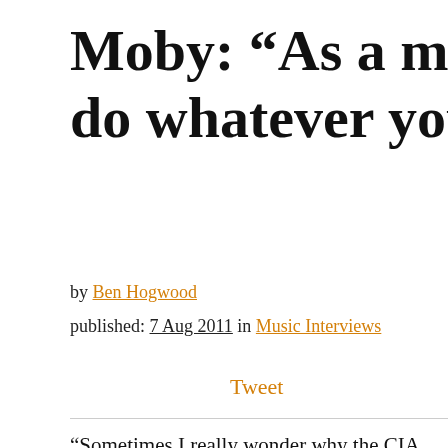Moby: “As a musician, you can do whatever you want” –
by Ben Hogwood
published: 7 Aug 2011 in Music Interviews
Tweet
“Sometimes I really wonder why the CIA hasn’t tried to recruit me, because it would be the best cover for a travelling agent!”
Moby is talking about his recent tour activities, which have seen him performing in Germany, Belgium and Spain on the three